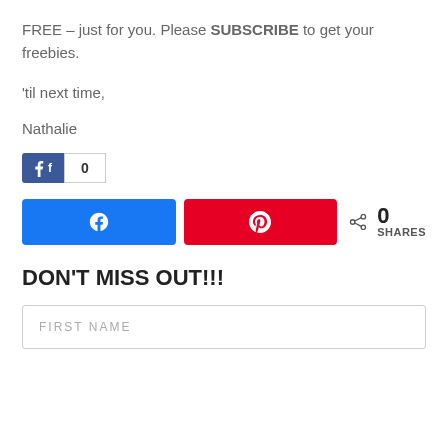FREE – just for you. Please SUBSCRIBE to get your freebies.
'til next time,
Nathalie
[Figure (other): Facebook like button with count showing 0]
[Figure (other): Social share buttons: Facebook share button (blue), Pinterest save button (red), and a share count showing 0 SHARES]
DON'T MISS OUT!!!
FIRST NAME